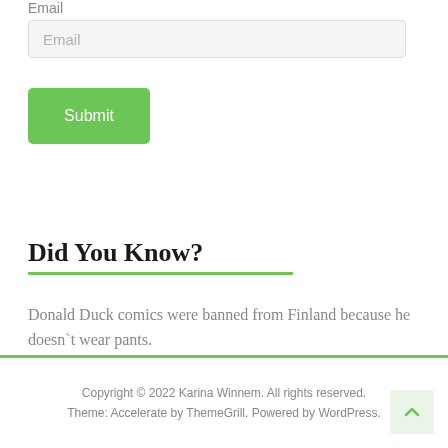Email
Email
Submit
Did You Know?
Donald Duck comics were banned from Finland because he doesn`t wear pants.
Copyright © 2022 Karina Winnem. All rights reserved.
Theme: Accelerate by ThemeGrill. Powered by WordPress.